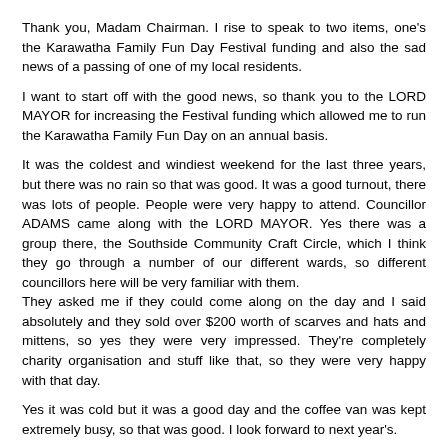Thank you, Madam Chairman. I rise to speak to two items, one's the Karawatha Family Fun Day Festival funding and also the sad news of a passing of one of my local residents.
I want to start off with the good news, so thank you to the LORD MAYOR for increasing the Festival funding which allowed me to run the Karawatha Family Fun Day on an annual basis.
It was the coldest and windiest weekend for the last three years, but there was no rain so that was good. It was a good turnout, there was lots of people. People were very happy to attend. Councillor ADAMS came along with the LORD MAYOR. Yes there was a group there, the Southside Community Craft Circle, which I think they go through a number of our different wards, so different councillors here will be very familiar with them.
They asked me if they could come along on the day and I said absolutely and they sold over $200 worth of scarves and hats and mittens, so yes they were very impressed. They're completely charity organisation and stuff like that, so they were very happy with that day.
Yes it was cold but it was a good day and the coffee van was kept extremely busy, so that was good. I look forward to next year's.
On the sad note, one of my local residents passed on Sunday, 25 May at 2:15 in the morning. It's kind of interesting; she was in the Canossa Hospice which is in the Oxley Ward in Councillor BOURKE's ward and I'm pretty sure he might have been there with the local state member just the other—on Sunday